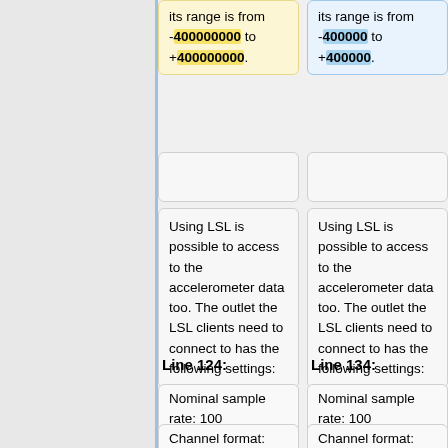its range is from -400000000 to +400000000.
its range is from -400000 to +400000.
Using LSL is possible to access to the accelerometer data too. The outlet the LSL clients need to connect to has the following settings:
Using LSL is possible to access to the accelerometer data too. The outlet the LSL clients need to connect to has the following settings:
Line 124:
Line 134:
Nominal sample rate: 100
Nominal sample rate: 100
Channel format: float_32
Channel format: float_32